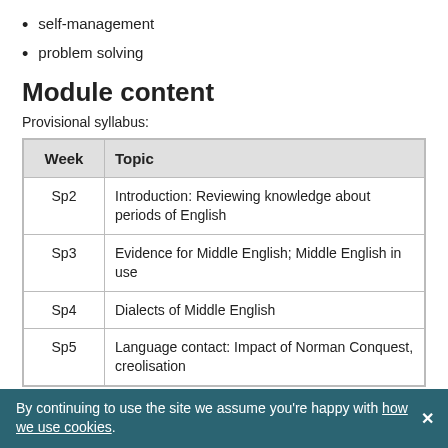self-management
problem solving
Module content
Provisional syllabus:
| Week | Topic |
| --- | --- |
| Sp2 | Introduction: Reviewing knowledge about periods of English |
| Sp3 | Evidence for Middle English; Middle English in use |
| Sp4 | Dialects of Middle English |
| Sp5 | Language contact: Impact of Norman Conquest, creolisation |
By continuing to use the site we assume you're happy with how we use cookies.